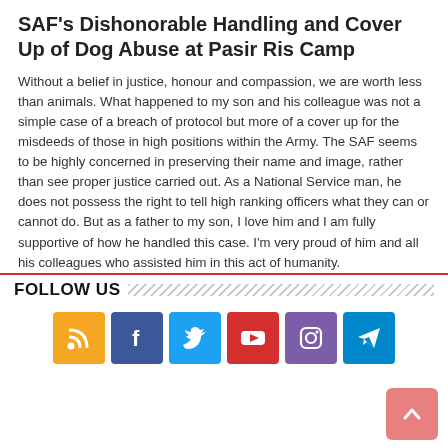SAF's Dishonorable Handling and Cover Up of Dog Abuse at Pasir Ris Camp
Without a belief in justice, honour and compassion, we are worth less than animals. What happened to my son and his colleague was not a simple case of a breach of protocol but more of a cover up for the misdeeds of those in high positions within the Army. The SAF seems to be highly concerned in preserving their name and image, rather than see proper justice carried out. As a National Service man, he does not possess the right to tell high ranking officers what they can or cannot do. But as a father to my son, I love him and I am fully supportive of how he handled this case. I'm very proud of him and all his colleagues who assisted him in this act of humanity.
Read More »
FOLLOW US
[Figure (infographic): Row of social media icons: RSS (orange), Facebook (blue), Twitter (light blue), YouTube (red), Instagram (purple), Telegram (blue)]